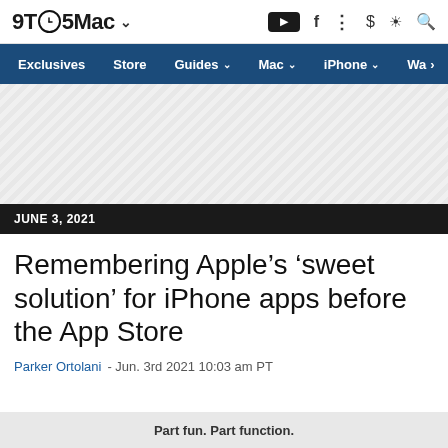9TO5Mac
Exclusives  Store  Guides  Mac  iPhone  Wa
[Figure (other): Advertisement placeholder area with diagonal stripe pattern]
JUNE 3, 2021
Remembering Apple’s ‘sweet solution’ for iPhone apps before the App Store
Parker Ortolani  -  Jun. 3rd 2021 10:03 am PT
Part fun. Part function.